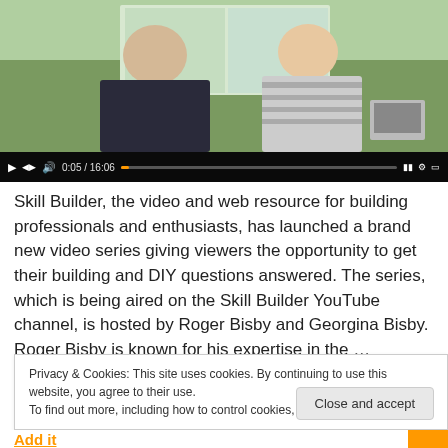[Figure (screenshot): Video thumbnail showing two people (a man on the left in dark clothing and a woman on the right in a striped top) seated in front of a window with greenery outside. Video player controls are visible at the bottom showing 0:05 / 16:06.]
Skill Builder, the video and web resource for building professionals and enthusiasts, has launched a brand new video series giving viewers the opportunity to get their building and DIY questions answered. The series, which is being aired on the Skill Builder YouTube channel, is hosted by Roger Bisby and Georgina Bisby. Roger Bisby is known for his expertise in the …
Read More »
Privacy & Cookies: This site uses cookies. By continuing to use this website, you agree to their use.
To find out more, including how to control cookies, see here: Cookie Policy
Close and accept
Add it